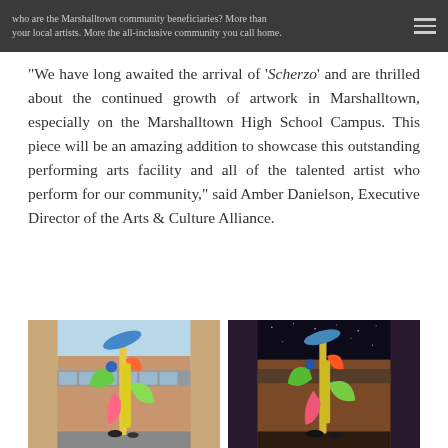who are the Marshalltown community beneficiaries? More than your local artists. More the all-inclusive community you call home.
“We have long awaited the arrival of ‘Scherzo’ and are thrilled about the continued growth of artwork in Marshalltown, especially on the Marshalltown High School Campus. This piece will be an amazing addition to showcase this outstanding performing arts facility and all of the talented artist who perform for our community,” said Amber Danielson, Executive Director of the Arts & Culture Alliance.
[Figure (photo): Two side-by-side photos of a colorful abstract sculpture named Scherzo. Left photo shows the sculpture in daytime against a brick school building with a light blue sky. Right photo shows the same sculpture at night against a dark starry sky with warm brown background. The sculpture features yellow, green, orange, blue, and pink abstract shapes resembling figures in motion.]